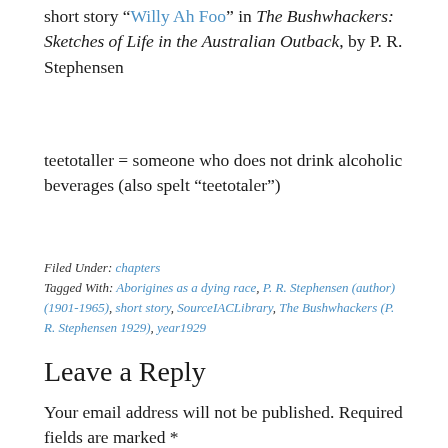short story “Willy Ah Foo” in The Bushwhackers: Sketches of Life in the Australian Outback, by P. R. Stephensen
teetotaller = someone who does not drink alcoholic beverages (also spelt “teetotaler”)
Filed Under: chapters
Tagged With: Aborigines as a dying race, P. R. Stephensen (author) (1901-1965), short story, SourceIACLibrary, The Bushwhackers (P. R. Stephensen 1929), year1929
Leave a Reply
Your email address will not be published. Required fields are marked *